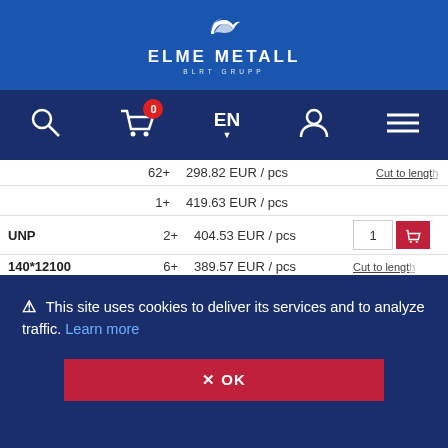ELME METALL BLRT GRUPP
[Figure (screenshot): Navigation bar with search, cart (0 items), EN language selector, user icon, and hamburger menu on dark navy background]
| Product | Qty | Price |
| --- | --- | --- |
|  | 62+ | 298.82 EUR / pcs |
|  | 1+ | 419.63 EUR / pcs |
| UNP 140*12100 S235JR+AR | 2+ | 404.53 EUR / pcs |
|  | 6+ | 389.57 EUR / pcs |
|  | 26+ | 374.62 EUR / pcs |
|  | 53+ | 359.66 EUR / ... |
This site uses cookies to deliver its services and to analyze traffic. Learn more
OK